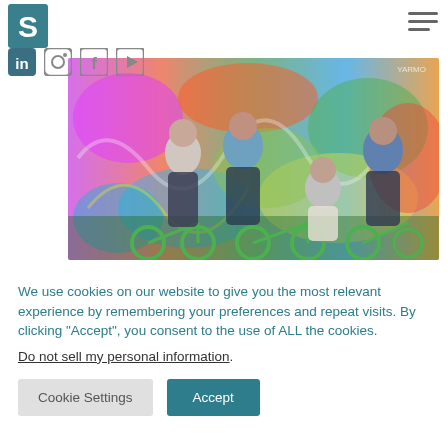[Figure (logo): Teal/dark-teal square logo with white letter S]
[Figure (photo): Group of four young people posing with green Lime bikes in front of colorful graffiti wall]
We use cookies on our website to give you the most relevant experience by remembering your preferences and repeat visits. By clicking “Accept”, you consent to the use of ALL the cookies.
Do not sell my personal information.
Cookie Settings
Accept